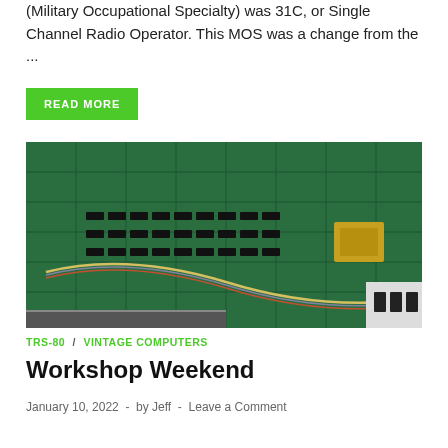(Military Occupational Specialty) was 31C, or Single Channel Radio Operator. This MOS was a change from the ...
READ MORE
[Figure (photo): Close-up photograph of a green circuit board (TRS-80 vintage computer motherboard) with numerous components, wires, and a yellow module visible on the right side.]
TRS-80 / VINTAGE COMPUTERS
Workshop Weekend
January 10, 2022  -  by Jeff  -  Leave a Comment